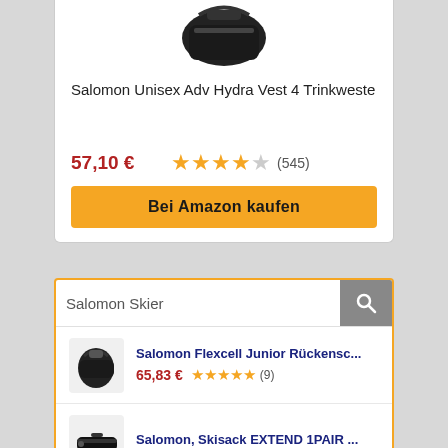[Figure (photo): Black backpack/hydration vest product image on white background]
Salomon Unisex Adv Hydra Vest 4 Trinkweste
57,10 €
★★★★☆ (545)
Bei Amazon kaufen
Salomon Skier
[Figure (photo): Small black backpack/rucksack product thumbnail]
Salomon Flexcell Junior Rückensc...
65,83 € ★★★★★ (9)
[Figure (photo): Black ski bag product thumbnail]
Salomon, Skisack EXTEND 1PAIR ...